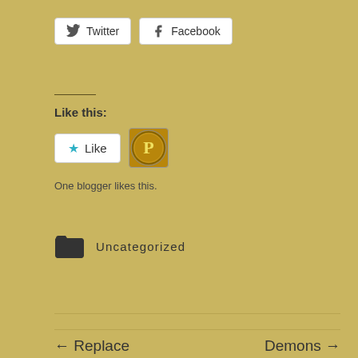[Figure (other): Twitter and Facebook social sharing buttons]
Like this:
[Figure (other): Like button widget with star icon, and a blogger avatar circle]
One blogger likes this.
Uncategorized
← Replace
Demons →